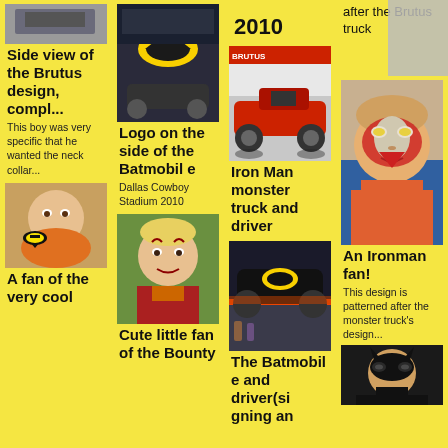[Figure (photo): Aerial/side view image, partial at top]
Side view of the Brutus design, compl...
This boy was very specific that he wanted the neck collar...
[Figure (photo): Child with face paint at bottom of col 1]
A fan of the very cool
[Figure (photo): Batmobile monster truck with Batman logo on top]
Logo on the side of the Batmobile
Dallas Cowboy Stadium 2010
[Figure (photo): Child with face paint costume]
Cute little fan of the Bounty
[Figure (photo): Text showing 2010]
[Figure (photo): Iron Man monster truck with driver]
Iron Man monster truck and driver
[Figure (photo): The Batmobile at arena]
The Batmobile and driver(signing an
after the Brutus truck
[Figure (photo): Child with Ironman face paint]
An Ironman fan!
This design is patterned after the monster truck's design...
[Figure (photo): Child with Batman face paint mask]